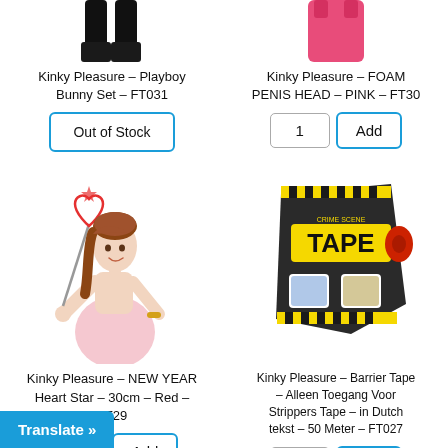[Figure (photo): Partial cropped photo of Kinky Pleasure Playboy Bunny Set product]
Kinky Pleasure – Playboy Bunny Set – FT031
Out of Stock
[Figure (photo): Partial cropped photo of Kinky Pleasure FOAM PENIS HEAD PINK product - pink top]
Kinky Pleasure – FOAM PENIS HEAD – PINK – FT30
1  Add
[Figure (photo): Woman holding heart-shaped wand on stick - Kinky Pleasure NEW YEAR Heart Star product]
Kinky Pleasure – NEW YEAR Heart Star – 30cm – Red – FT29
1  Add
[Figure (photo): Package of Barrier Tape with crime scene tape design - Kinky Pleasure product]
Kinky Pleasure – Barrier Tape – Alleen Toegang Voor Strippers Tape – in Dutch tekst – 50 Meter – FT027
1  Add
Translate »